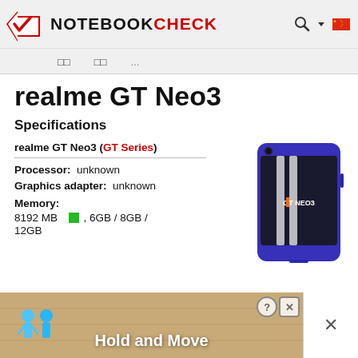NOTEBOOKCHECK
□□   □□   ...
realme GT Neo3
Specifications
realme GT Neo3 (GT Series)
[Figure (photo): realme GT Neo3 smartphone in blue color with racing stripes on the back]
Processor:  unknown
Graphics adapter:  unknown
Memory:
8192 MB ■, 6GB / 8GB /
12GB
[Figure (screenshot): Advertisement banner at bottom: Hold and Move game ad with blue cartoon figures]